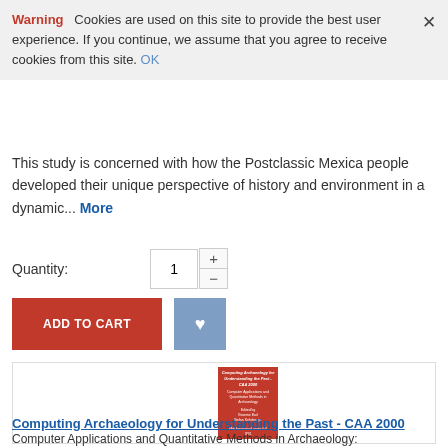Warning   Cookies are used on this site to provide the best user experience. If you continue, we assume that you agree to receive cookies from this site. OK
This study is concerned with how the Postclassic Mexica people developed their unique perspective of history and environment in a dynamic... More
Quantity:  1
[Figure (screenshot): Add to Cart button (dark red) and a blue wishlist/heart button]
[Figure (photo): Book cover preview for Computing Archaeology for Understanding the Past - CAA 2000, red cover with white text]
Computing Archaeology for Understanding the Past - CAA 2000
Computer Applications and Quantitative Methods in Archaeology: